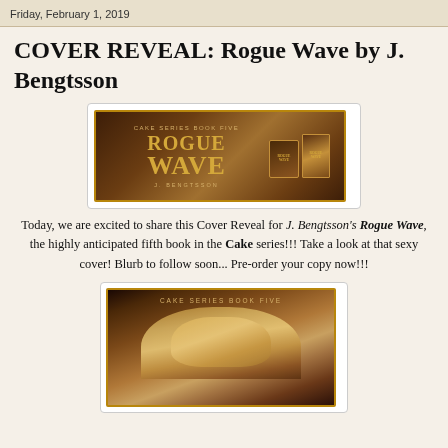Friday, February 1, 2019
COVER REVEAL: Rogue Wave by J. Bengtsson
[Figure (illustration): Book cover banner for Rogue Wave by J. Bengtsson, Cake Series Book Five. Dark brown/gold themed horizontal banner with title text and book images.]
Today, we are excited to share this Cover Reveal for J. Bengtsson's Rogue Wave, the highly anticipated fifth book in the Cake series!!! Take a look at that sexy cover! Blurb to follow soon... Pre-order your copy now!!!
[Figure (illustration): Second book cover image for Rogue Wave, Cake Series Book Five. Dark brown/gold themed with woman figure.]